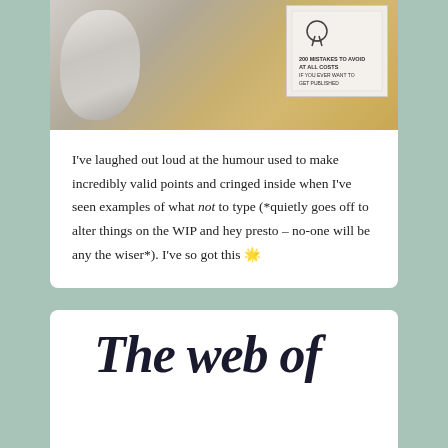[Figure (photo): Photo of a computer mouse and a book on a wooden desk. The book cover shows a gun illustration and text '200 MISTAKES TO AVOID AT ALL COSTS IF YOU EVER WANT TO GET PUBLISHED'.]
I've laughed out loud at the humour used to make incredibly valid points and cringed inside when I've seen examples of what not to type (*quietly goes off to alter things on the WIP and hey presto – no-one will be any the wiser*). I've so got this 🌟
The web of